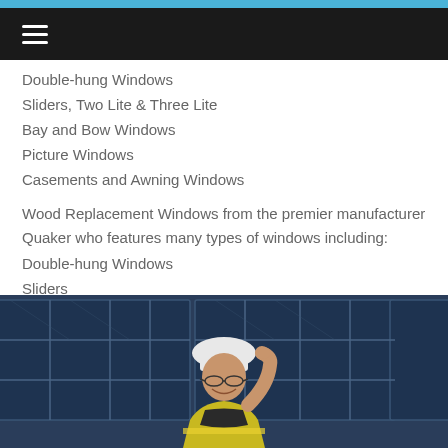≡ (navigation menu)
Double-hung Windows
Sliders, Two Lite & Three Lite
Bay and Bow Windows
Picture Windows
Casements and Awning Windows
Wood Replacement Windows from the premier manufacturer Quaker who features many types of windows including:
Double-hung Windows
Sliders
Casement
[Figure (photo): A smiling man wearing a white hard hat and glasses standing in front of large solar panels, dressed in a high-visibility vest]